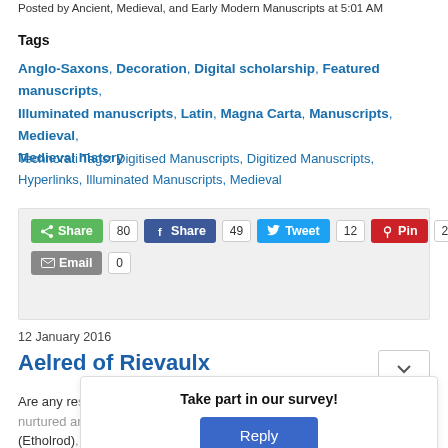Posted by Ancient, Medieval, and Early Modern Manuscripts at 5:01 AM
Tags
Anglo-Saxons, Decoration, Digital scholarship, Featured manuscripts, Illuminated manuscripts, Latin, Magna Carta, Manuscripts, Medieval, Medieval history
Technorati Tags: Digitised Manuscripts, Digitized Manuscripts, Hyperlinks, Illuminated Manuscripts, Medieval
[Figure (infographic): Social sharing buttons: Share (green, 80), Share (Facebook, 49), Tweet (Twitter, 12), Pin (Pinterest, 2), Email (0)]
12 January 2016
Aelred of Rievaulx
Are any resolutions as part of Aelred of Rievaulx, red and (Etholrod) mentor
Take part in our survey!
Reply